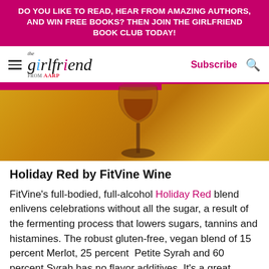DO YOU LIKE TO READ, HEAR FROM AMAZING AUTHORS, AND WIN FREE BOOKS? THEN JOIN THE GIRLFRIEND BOOK CLUB TODAY!
[Figure (logo): The Girlfriend from AARP logo with hamburger menu, Subscribe link and search icon]
[Figure (photo): Close-up of a wine glass stem on a golden glittery background]
Holiday Red by FitVine Wine
FitVine's full-bodied, full-alcohol Holiday Red blend enlivens celebrations without all the sugar, a result of the fermenting process that lowers sugars, tannins and histamines. The robust gluten-free, vegan blend of 15 percent Merlot, 25 percent Petite Syrah and 60 percent Syrah has no flavor additives. It's a great option for those who love wellness as